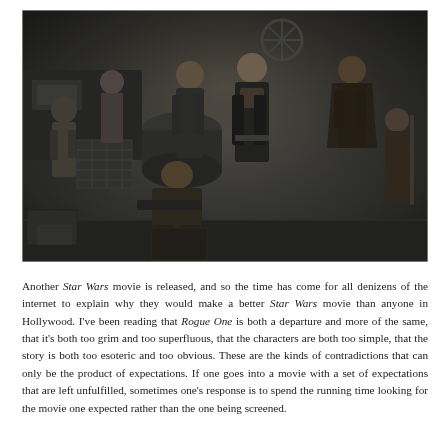[Figure (photo): A group of characters from the Star Wars film Rogue One, posed in a dark industrial setting. Multiple characters with weapons and varied costumes are shown in a promotional-style ensemble photo.]
Another Star Wars movie is released, and so the time has come for all denizens of the internet to explain why they would make a better Star Wars movie than anyone in Hollywood. I've been reading that Rogue One is both a departure and more of the same, that it's both too grim and too superfluous, that the characters are both too simple, that the story is both too esoteric and too obvious. These are the kinds of contradictions that can only be the product of expectations. If one goes into a movie with a set of expectations that are left unfulfilled, sometimes one's response is to spend the running time looking for the movie one expected rather than the one being screened.